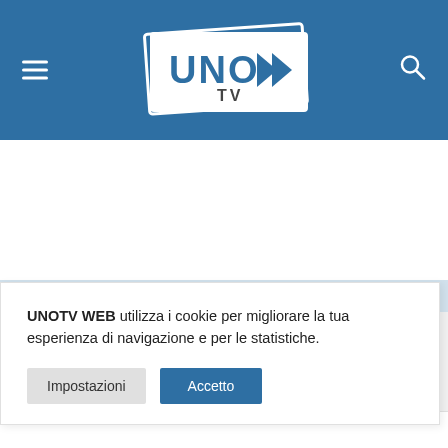UNO TV - navigation header with hamburger menu, UNO TV logo, and search icon
[Figure (photo): Faded hero image showing a workspace with screens/monitors, washed out in light blue tones]
UNOTV WEB utilizza i cookie per migliorare la tua esperienza di navigazione e per le statistiche.
Impostazioni   Accetto
IL CARO SCUOLA
OSPESO" PER